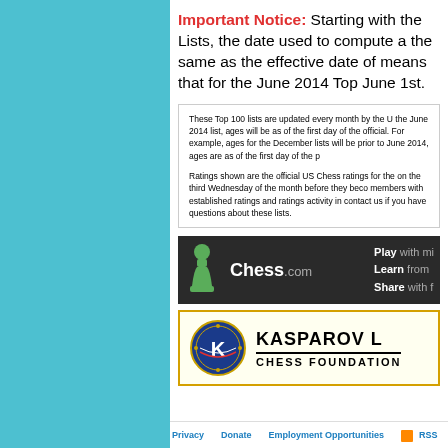Important Notice: Starting with the Lists, the date used to compute a the same as the effective date of means that for the June 2014 Top June 1st.
These Top 100 lists are updated every month by the Un the June 2014 list, ages will be as of the first day of the official. For example, ages for the December lists will be prior to June 2014, ages are as of the first day of the pr

Ratings shown are the official US Chess ratings for the on the third Wednesday of the month before they beco members with established ratings and ratings activity in contact us if you have questions about these lists.
[Figure (logo): Chess.com advertisement banner with pawn logo, Chess.com text, and taglines: Play with mi, Learn from, Share with f]
[Figure (logo): Kasparov Chess Foundation banner with circular emblem logo and KASPAROV L CHESS FOUNDATION text]
Privacy   Donate   Employment Opportunities   RSS